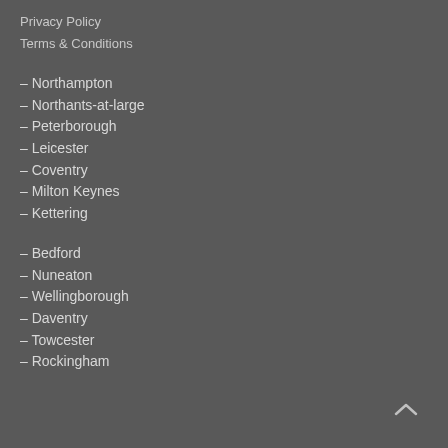Privacy Policy
Terms & Conditions
– Northampton
– Northants-at-large
– Peterborough
– Leicester
– Coventry
– Milton Keynes
– Kettering
– Bedford
– Nuneaton
– Wellingborough
– Daventry
– Towcester
– Rockingham